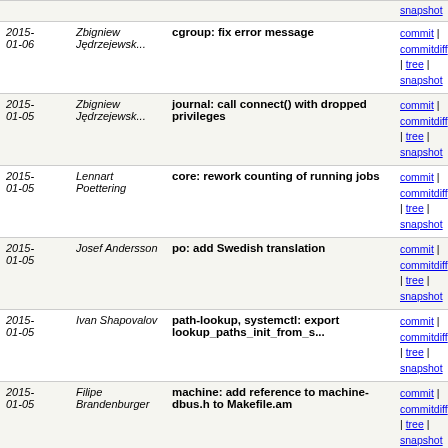| Date | Author | Message | Links |
| --- | --- | --- | --- |
| 2015-01-06 | Zbigniew Jędrzejewsk... | cgroup: fix error message | commit | commitdiff | tree | snapshot |
| 2015-01-05 | Zbigniew Jędrzejewsk... | journal: call connect() with dropped privileges | commit | commitdiff | tree | snapshot |
| 2015-01-05 | Lennart Poettering | core: rework counting of running jobs | commit | commitdiff | tree | snapshot |
| 2015-01-05 | Josef Andersson | po: add Swedish translation | commit | commitdiff | tree | snapshot |
| 2015-01-05 | Ivan Shapovalov | path-lookup, systemctl: export lookup_paths_init_from_s... | commit | commitdiff | tree | snapshot |
| 2015-01-05 | Filipe Brandenburger | machine: add reference to machine-dbus.h to Makefile.am | commit | commitdiff | tree | snapshot |
| 2015-01-05 | Lennart Poettering | tmpfiles: fix 'D' lines | commit | commitdiff | tree | snapshot |
| 2015-01-05 | Lennart Poettering | nss-myhostname: always will in canonical hostname field... | commit | commitdiff | tree | snapshot |
| 2015-01-05 | Lukasz Skalski | bus-proxyd: don't allow to acquire org.freedesktop... | commit | commitdiff | tree | snapshot |
| 2015-01-05 | Michael Biebl | core: fix typo in log message | commit | commitdiff | tree | snapshot |